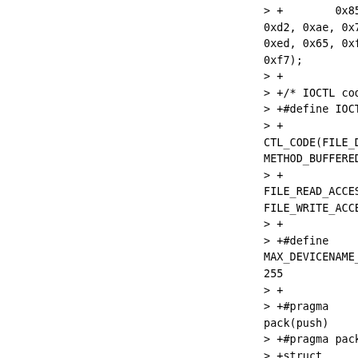> +        0x85,
0xd2, 0xae, 0x7c,
0xed, 0x65, 0xff,
0xf7);
> +
> +/* IOCTL code definitions */
> +#define IOCTL_NETUIO_MAP_HW_I\
> +
CTL_CODE(FILE_DEVICE_51,
METHOD_BUFFERED, \
> +
FILE_READ_ACCESS |
FILE_WRITE_ACCESS)
> +
> +#define
MAX_DEVICENAME_SZ
255
> +
> +#pragma
pack(push)
> +#pragma pack(8)
> +struct
mem_region {
> +        UINT64
size;  /* memory
region size */